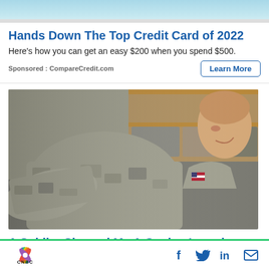[Figure (photo): Partial top image showing a person, cropped — teal/light blue background]
Hands Down The Top Credit Card of 2022
Here's how you can get an easy $200 when you spend $500.
Sponsored : CompareCredit.com
Learn More
[Figure (photo): A soldier in camouflage uniform holding/inspecting military gear near a wooden shelf with folded clothes]
A Soldier Showed Me A Genius Laundry Hack
CNBC logo with social media icons: Facebook, Twitter, LinkedIn, Email